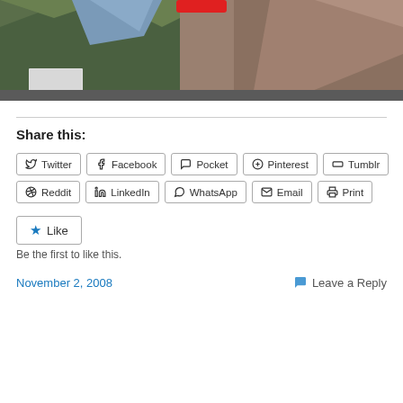[Figure (photo): Outdoor landscape photo showing rocky cliff face with trees and blue sky, partially obscured by a red shape at the top center.]
Share this:
Twitter Facebook Pocket Pinterest Tumblr Reddit LinkedIn WhatsApp Email Print
Like
Be the first to like this.
November 2, 2008
Leave a Reply